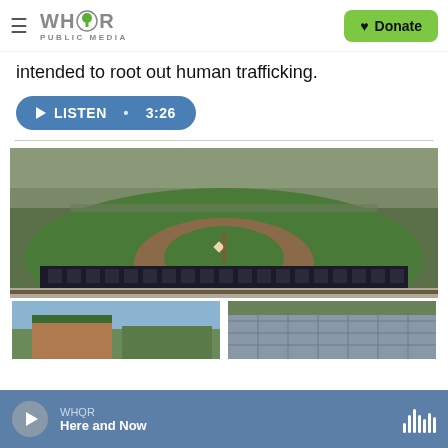WHQR PUBLIC MEDIA | Donate
intended to root out human trafficking.
LISTEN • 3:26
[Figure (photo): Aerial view of a baseball/softball field with bleachers and green outfield grass]
[Figure (photo): Exterior of a brick building with green trim, outdoor scene]
[Figure (photo): Close-up of a gray/blue patterned object outdoors]
WHQR Here and Now — player bar with play button and audio wave icon